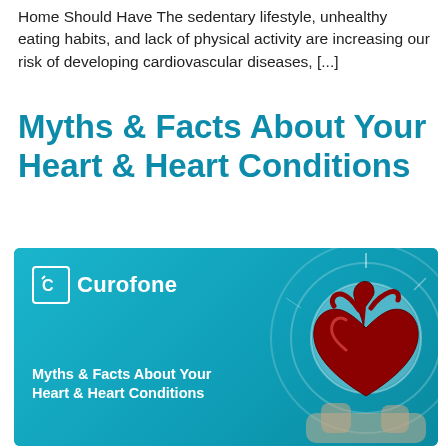Home Should Have The sedentary lifestyle, unhealthy eating habits, and lack of physical activity are increasing our risk of developing cardiovascular diseases, [...]
Myths & Facts About Your Heart & Heart Conditions
[Figure (illustration): Curofone branded promotional image with teal background showing a 3D anatomical heart inside a glowing translucent sphere held by hands, with the Curofone logo top-left and caption 'Myths & Facts About Your Heart & Heart Conditions' bottom-left]